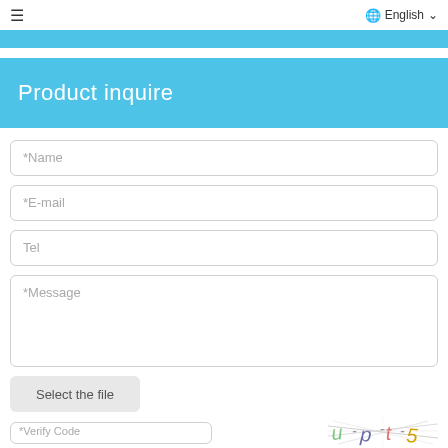≡   🌐 English ∨
Product inquire
*Name
*E-mail
Tel
*Message
Select the file
*Verify Code
[Figure (other): CAPTCHA image showing distorted text: u p t 5]